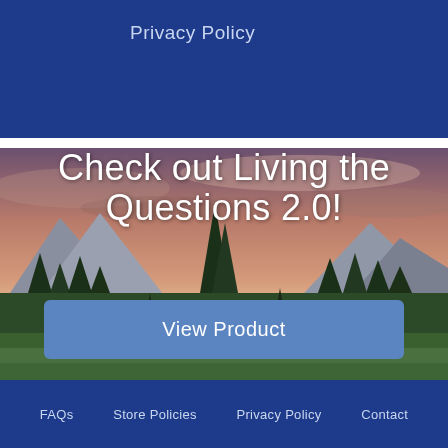Privacy Policy
[Figure (photo): Mountain landscape at dusk with evergreen trees in the foreground, mountains in the background, and a dramatic pink/orange cloudy sky. Text overlay reads 'Check out Living the Questions 2.0!' with a 'View Product' button below.]
Check out Living the Questions 2.0!
View Product
FAQs   Store Policies   Privacy Policy   Contact